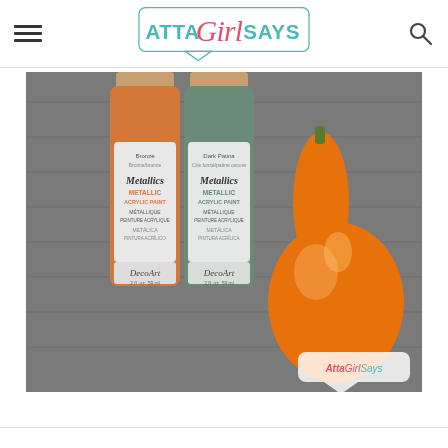Atta Girl Says – navigation header with hamburger menu, logo, and search icon
[Figure (photo): Two bottles of DecoArt Metallics metallic acrylic paint (Bronze and Dark Patina colors, each 59ml) placed on a gray wooden surface beside an orange butternut squash or gourd. The image has a watermark 'AttaGirlSays' in the bottom-right corner.]